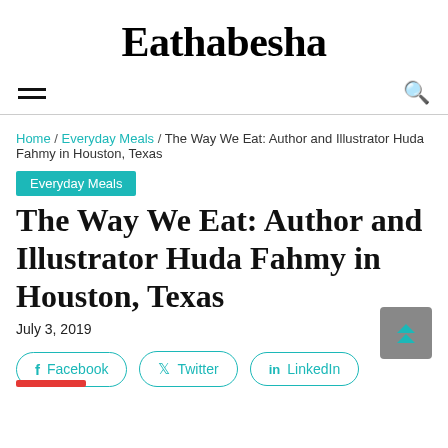Eathabesha
Home / Everyday Meals / The Way We Eat: Author and Illustrator Huda Fahmy in Houston, Texas
Everyday Meals
The Way We Eat: Author and Illustrator Huda Fahmy in Houston, Texas
July 3, 2019
Facebook   Twitter   LinkedIn